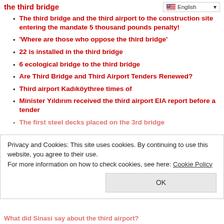the third bridge
The third bridge and the third airport to the construction site entering the mandate 5 thousand pounds penalty!
'Where are those who oppose the third bridge'
22 is installed in the third bridge
6 ecological bridge to the third bridge
Are Third Bridge and Third Airport Tenders Renewed?
Third airport Kadıköythree times of
Minister Yıldırım received the third airport EIA report before a tender
The first steel decks placed on the 3rd bridge
Privacy and Cookies: This site uses cookies. By continuing to use this website, you agree to their use.
For more information on how to check cookies, see here: Cookie Policy
What did Sinasi say about the third airport?